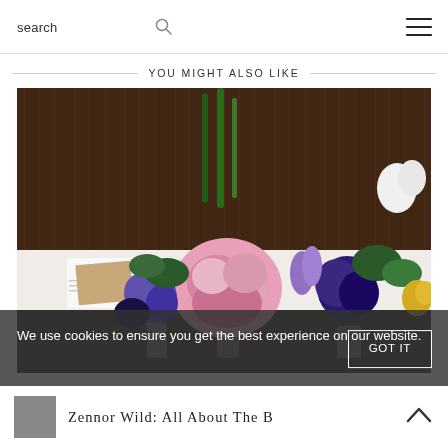search  ☰
YOU MIGHT ALSO LIKE
[Figure (photo): Wedding table centerpiece with pink hydrangeas, purple/blue cornflowers, and mixed wildflowers in glass vases on a white table, dark wooden barn background]
We use cookies to ensure you get the best experience on our website.
Zennor Wild: All About The B...